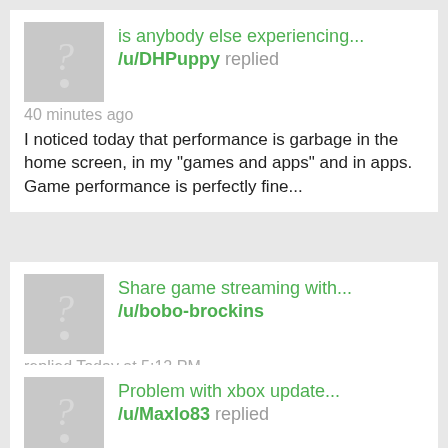[Figure (illustration): User avatar with question mark, gray background]
is anybody else experiencing...
/u/DHPuppy replied
40 minutes ago
I noticed today that performance is garbage in the home screen, in my "games and apps" and in apps. Game performance is perfectly fine...
[Figure (illustration): User avatar with question mark, gray background]
Share game streaming with...
/u/bobo-brockins replied Today at 5:12 PM
So I pay for game pass ultimate which gives me game streaming so I don't have to download games. My wife also plays Xbox but doesn't have...
[Figure (illustration): User avatar with question mark, gray background]
Problem with xbox update...
/u/MaxIo83 replied
Today at 4:02 PM
Hello!